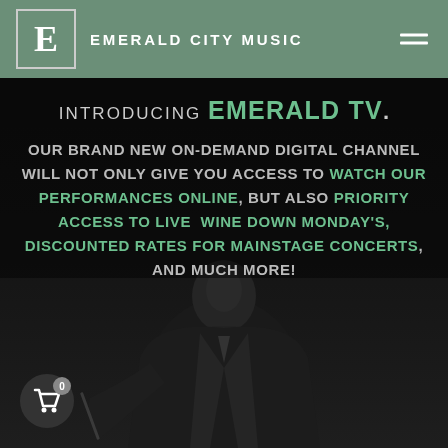EMERALD CITY MUSIC
INTRODUCING EMERALD TV.
OUR BRAND NEW ON-DEMAND DIGITAL CHANNEL WILL NOT ONLY GIVE YOU ACCESS TO WATCH OUR PERFORMANCES ONLINE, BUT ALSO PRIORITY ACCESS TO LIVE WINE DOWN MONDAY'S, DISCOUNTED RATES FOR MAINSTAGE CONCERTS, AND MUCH MORE!
[Figure (photo): A musician playing violin in formal attire, shown in dark silhouette against a dark background.]